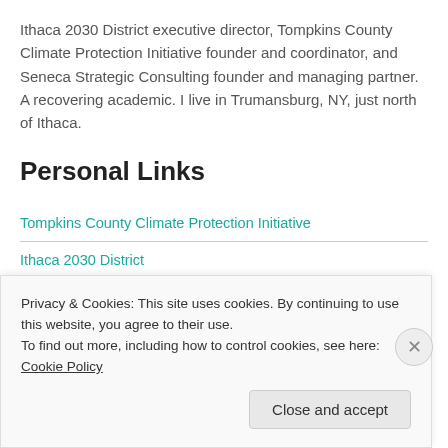Ithaca 2030 District executive director, Tompkins County Climate Protection Initiative founder and coordinator, and Seneca Strategic Consulting founder and managing partner. A recovering academic. I live in Trumansburg, NY, just north of Ithaca.
Personal Links
Tompkins County Climate Protection Initiative
Ithaca 2030 District
Privacy & Cookies: This site uses cookies. By continuing to use this website, you agree to their use.
To find out more, including how to control cookies, see here: Cookie Policy
Close and accept